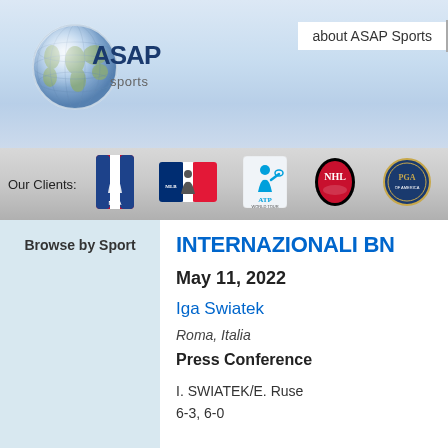[Figure (logo): ASAP Sports logo with globe graphic and 'ASAP sports' text]
about ASAP Sports
Our Clients:
[Figure (logo): NBA logo]
[Figure (logo): MLB Major League Baseball logo]
[Figure (logo): ATP World Tour logo]
[Figure (logo): NHL logo]
[Figure (logo): PGA logo]
Browse by Sport
INTERNAZIONALI BN
May 11, 2022
Iga Swiatek
Roma, Italia
Press Conference
I. SWIATEK/E. Ruse
6-3, 6-0